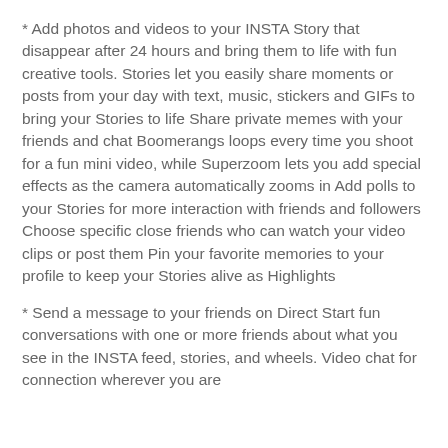* Add photos and videos to your INSTA Story that disappear after 24 hours and bring them to life with fun creative tools. Stories let you easily share moments or posts from your day with text, music, stickers and GIFs to bring your Stories to life Share private memes with your friends and chat Boomerangs loops every time you shoot for a fun mini video, while Superzoom lets you add special effects as the camera automatically zooms in Add polls to your Stories for more interaction with friends and followers Choose specific close friends who can watch your video clips or post them Pin your favorite memories to your profile to keep your Stories alive as Highlights
* Send a message to your friends on Direct Start fun conversations with one or more friends about what you see in the INSTA feed, stories, and wheels. Video chat for connection wherever you are